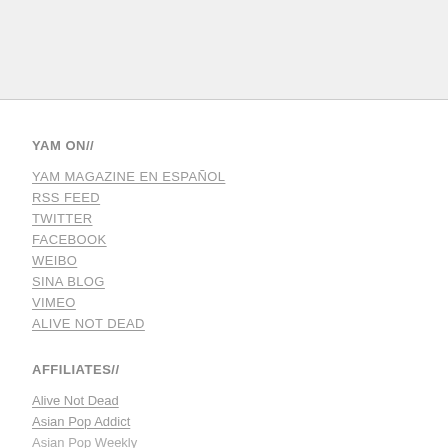YAM ON//
YAM MAGAZINE EN ESPAÑOL
RSS FEED
TWITTER
FACEBOOK
WEIBO
SINA BLOG
VIMEO
ALIVE NOT DEAD
AFFILIATES//
Alive Not Dead
Asian Pop Addict
Asian Pop Weekly